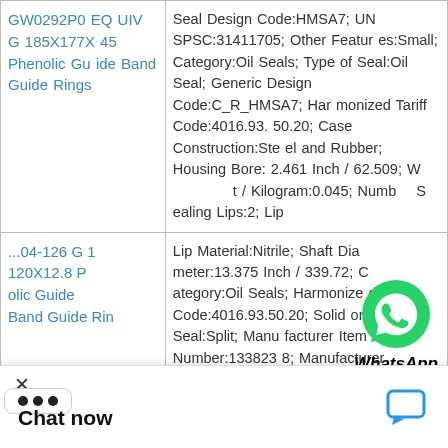| Product | Specifications |
| --- | --- |
| GW0292P0 EQUIV G 185X177X45 Phenolic Guide Band Guide Rings | Seal Design Code:HMSA7; UNSPSC:31411705; Other Features:Small; Category:Oil Seals; Type of Seal:Oil Seal; Generic Design Code:C_R_HMSA7; Harmonized Tariff Code:4016.93.50.20; Case Construction:Steel and Rubber; Housing Bore:2.461 Inch / 62.509; Weight / Kilogram:0.045; Number of Sealing Lips:2; Lip |
| ...04-126 G 1 120X12.8 P olic Guide Band Guide Rin | Lip Material:Nitrile; Shaft Diameter:13.375 Inch / 339.72; Category:Oil Seals; Harmonized Tariff Code:4016.93.50.20; Solid or Split Seal:Split; Manufacturer Item Number:1338238; Manufacturer Name:SKF; C ction:Rubber; Nou ght / LBS:3.151; Li N... |
[Figure (other): WhatsApp Online chat icon overlay with green WhatsApp logo and bold italic text 'WhatsApp Online']
Chat now